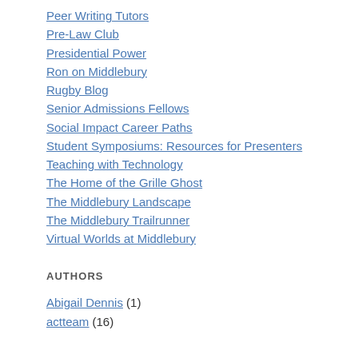Peer Writing Tutors
Pre-Law Club
Presidential Power
Ron on Middlebury
Rugby Blog
Senior Admissions Fellows
Social Impact Career Paths
Student Symposiums: Resources for Presenters
Teaching with Technology
The Home of the Grille Ghost
The Middlebury Landscape
The Middlebury Trailrunner
Virtual Worlds at Middlebury
AUTHORS
Abigail Dennis (1)
actteam (16)